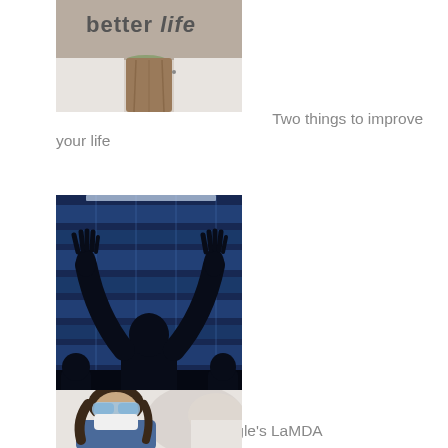[Figure (photo): Photo of a wooden post or tree stump with text 'better life' carved or written on it, outdoors setting]
Two things to improve your life
[Figure (photo): Silhouette of a person with hands raised against a blue glass building background]
Google's LaMDA chatbox and computer sentience – Why no computer will ever think
[Figure (photo): Person wearing safety goggles and a mask, partially cropped]